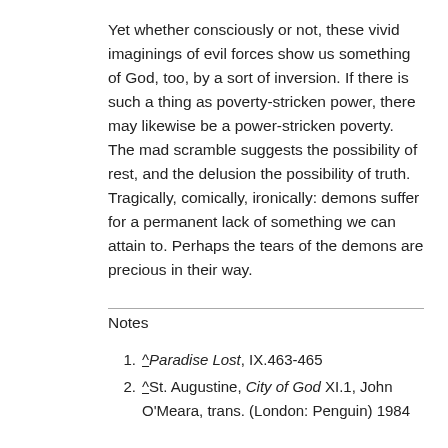Yet whether consciously or not, these vivid imaginings of evil forces show us something of God, too, by a sort of inversion. If there is such a thing as poverty-stricken power, there may likewise be a power-stricken poverty. The mad scramble suggests the possibility of rest, and the delusion the possibility of truth. Tragically, comically, ironically: demons suffer for a permanent lack of something we can attain to. Perhaps the tears of the demons are precious in their way.
Notes
^Paradise Lost, IX.463-465
^St. Augustine, City of God XI.1, John O'Meara, trans. (London: Penguin) 1984